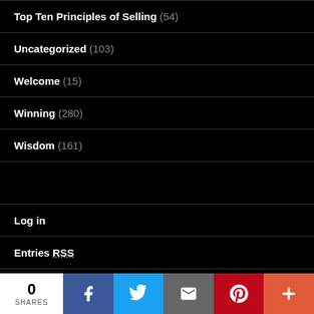Top Ten Principles of Selling (54)
Uncategorized (103)
Welcome (15)
Winning (280)
Wisdom (161)
Log in
Entries RSS
Comments RSS
WordPress.org
[Figure (infographic): Social share bar with share count 0 SHARES, Facebook, Twitter, Email, Pinterest, and More buttons]